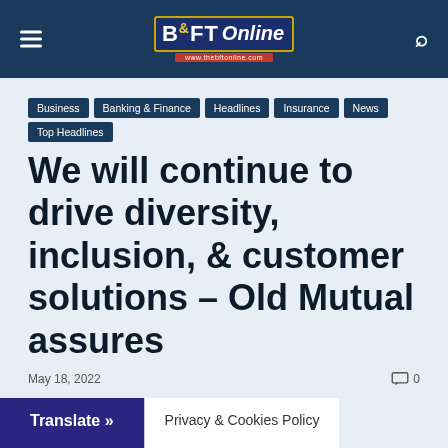B&FT Online — www.thebftonline.com
Business
Banking & Finance
Headlines
Insurance
News
Top Headlines
We will continue to drive diversity, inclusion, & customer solutions – Old Mutual assures
May 18, 2022
0
Translate »
Privacy & Cookies Policy